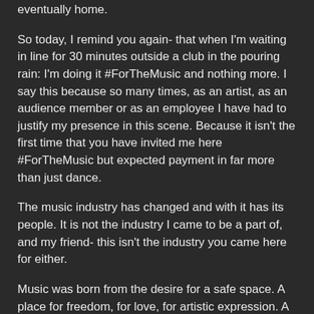eventually home.
So today, I remind you again- that when I'm waiting in line for 30 minutes outside a club in the pouring rain: I'm doing it #ForTheMusic and nothing more. I say this because so many times, as an artist, as an audience member or as an employee I have had to justify my presence in this scene. Because it isn't the first time that you have invited me here #ForTheMusic but expected payment in far more than just dance.
The music industry has changed and with it has its people. It is not the industry I came to be a part of, and my friend- this isn't the industry you came here for either.
Music was born from the desire for a safe space. A place for freedom, for love, for artistic expression. A place that stood for